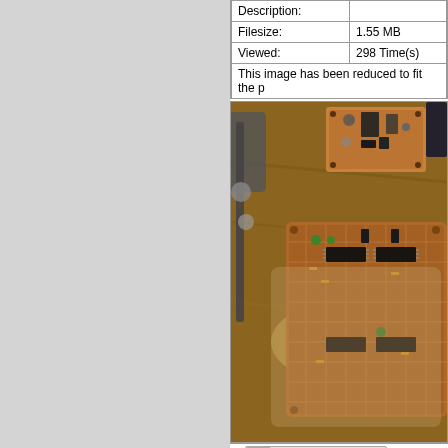| Field | Value |
| --- | --- |
| Description: |  |
| Filesize: | 1.55 MB |
| Viewed: | 298 Time(s) |
This image has been reduced to fit the p
[Figure (photo): Photo of electronic circuit boards on a wooden surface. A larger perfboard/prototype board with multiple ICs (DIP packages), capacitors, and other components is visible in the foreground. A smaller PCB with components is visible in the upper right. A metallic clamp or tool is visible on the left side.]